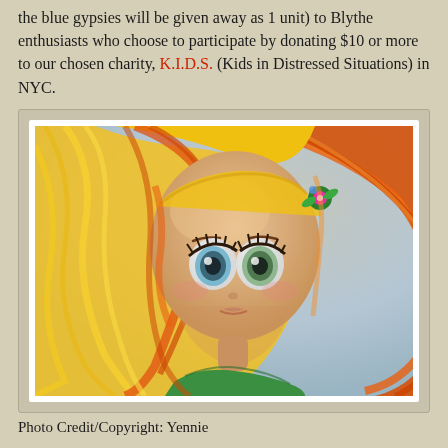the blue gypsies will be given away as 1 unit) to Blythe enthusiasts who choose to participate by donating $10 or more to our chosen charity, K.I.D.S. (Kids in Distressed Situations) in NYC.
[Figure (photo): Close-up photo of a Blythe doll with long flowing orange and yellow hair, large round eyes, and a small flower hairclip in green and pink/blue. The doll wears a green outfit and is photographed against a soft blue background.]
Photo Credit/Copyright: Yennie
The doll being given away for the month of November is